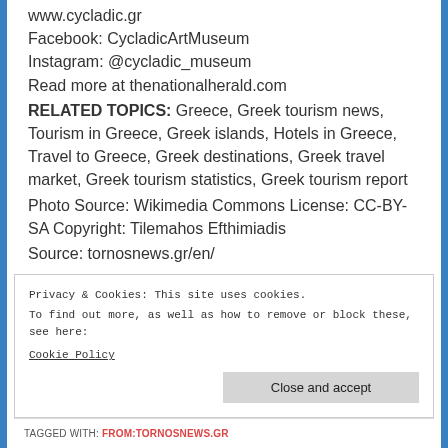www.cycladic.gr
Facebook: CycladicArtMuseum
Instagram: @cycladic_museum
Read more at thenationalherald.com
RELATED TOPICS: Greece, Greek tourism news, Tourism in Greece, Greek islands, Hotels in Greece, Travel to Greece, Greek destinations, Greek travel market, Greek tourism statistics, Greek tourism report
Photo Source: Wikimedia Commons License: CC-BY-SA Copyright: Tilemahos Efthimiadis
Source: tornosnews.gr/en/
Privacy & Cookies: This site uses cookies.
To find out more, as well as how to remove or block these, see here:
Cookie Policy
Close and accept
TAGGED WITH: FROM:TORNOSNEWS.GR